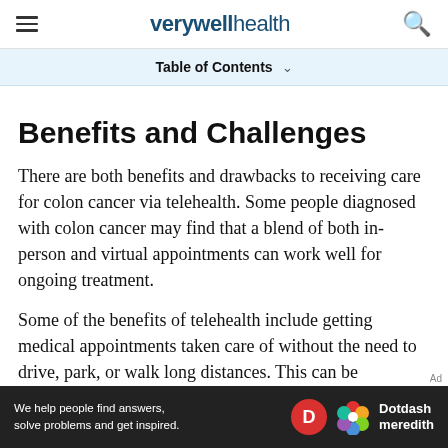verywell health
Table of Contents
Benefits and Challenges
There are both benefits and drawbacks to receiving care for colon cancer via telehealth. Some people diagnosed with colon cancer may find that a blend of both in-person and virtual appointments can work well for ongoing treatment.
Some of the benefits of telehealth include getting medical appointments taken care of without the need to drive, park, or walk long distances. This can be especially helpful for those who have
[Figure (other): Advertisement banner for Dotdash Meredith with text 'We help people find answers, solve problems and get inspired.']